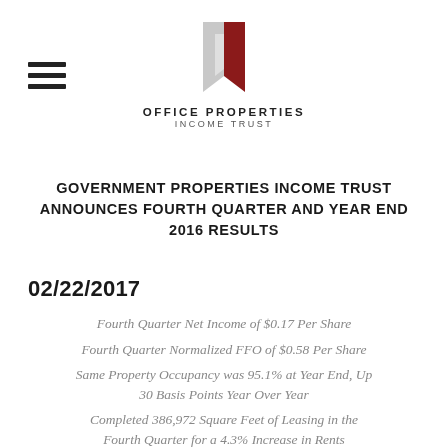[Figure (logo): Office Properties Income Trust logo — abstract book/building shape in gray and dark red, with company name below]
GOVERNMENT PROPERTIES INCOME TRUST ANNOUNCES FOURTH QUARTER AND YEAR END 2016 RESULTS
02/22/2017
Fourth Quarter Net Income of $0.17 Per Share
Fourth Quarter Normalized FFO of $0.58 Per Share
Same Property Occupancy was 95.1% at Year End, Up 30 Basis Points Year Over Year
Completed 386,972 Square Feet of Leasing in the Fourth Quarter for a 4.3% Increase in Rents